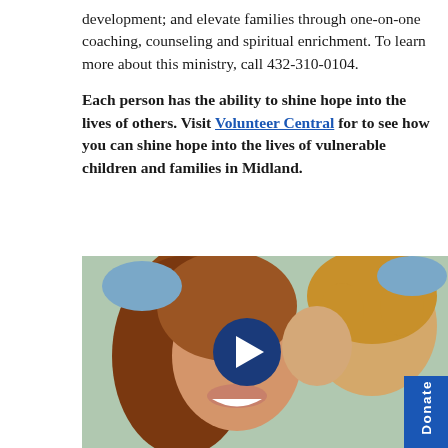development; and elevate families through one-on-one coaching, counseling and spiritual enrichment. To learn more about this ministry, call 432-310-0104.
Each person has the ability to shine hope into the lives of others. Visit Volunteer Central for to see how you can shine hope into the lives of vulnerable children and families in Midland.
[Figure (photo): Photo of a smiling woman with auburn hair and a young child with curly blonde hair, with a video play button overlay in the center.]